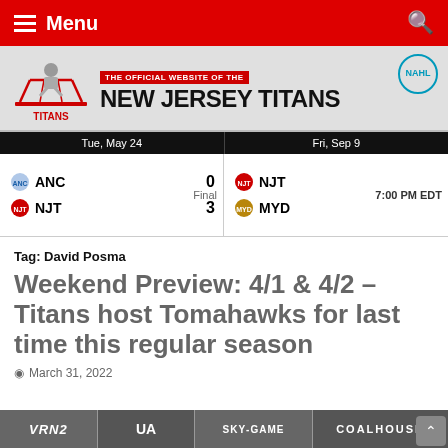Menu
[Figure (logo): New Jersey Titans official website banner with team logo, NAHL badge, and site title]
| Tue, May 24 | Fri, Sep 9 |
| --- | --- |
| ANC 0 / NJT 3 — Final | NJT vs MYD — 7:00 PM EDT |
Tag: David Posma
Weekend Preview: 4/1 & 4/2 – Titans host Tomahawks for last time this regular season
March 31, 2022
[Figure (photo): Sponsors strip at bottom: VRN2, Under Armour, and COALHOUSE logos]